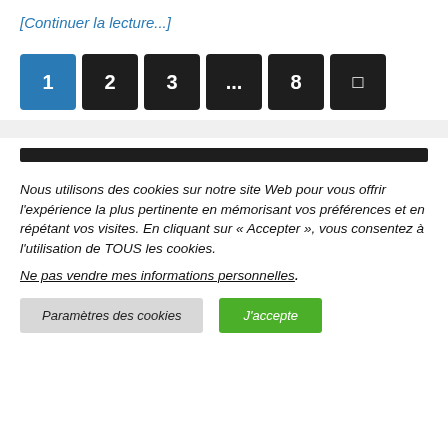[Continuer la lecture...]
[Figure (other): Pagination bar with buttons: 1 (active, blue), 2, 3, ..., 8, and a page/next icon (all dark except 1)]
[Figure (other): Dark horizontal bar/header strip]
Nous utilisons des cookies sur notre site Web pour vous offrir l'expérience la plus pertinente en mémorisant vos préférences et en répétant vos visites. En cliquant sur « Accepter », vous consentez à l'utilisation de TOUS les cookies.
Ne pas vendre mes informations personnelles.
Paramètres des cookies
J'accepte